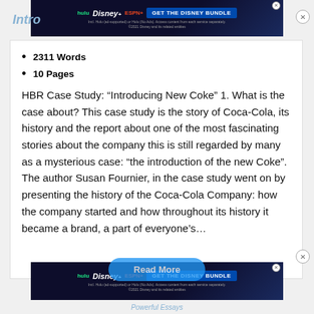[Figure (screenshot): Disney Bundle advertisement banner at top of page showing Hulu, Disney+, ESPN+ logos and 'GET THE DISNEY BUNDLE' button]
Intro
2311 Words
10 Pages
HBR Case Study: “Introducing New Coke” 1. What is the case about? This case study is the story of Coca-Cola, its history and the report about one of the most fascinating stories about the company this is still regarded by many as a mysterious case: “the introduction of the new Coke”. The author Susan Fournier, in the case study went on by presenting the history of the Coca-Cola Company: how the company started and how throughout its history it became a brand, a part of everyone’s…
[Figure (screenshot): Disney Bundle advertisement banner at bottom of page showing Hulu, Disney+, ESPN+ logos and 'GET THE DISNEY BUNDLE' button]
Powerful Essays